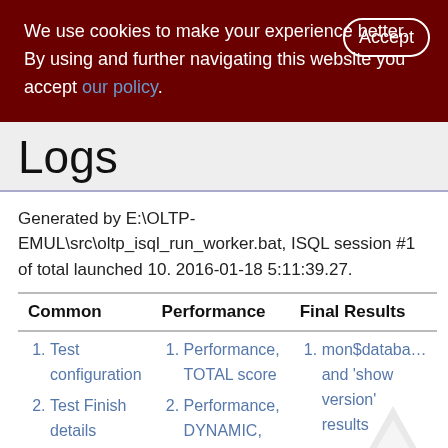We use cookies to make your experience better. By using and further navigating this website you accept our policy.
Logs
Generated by E:\OLTP-EMUL\src\oltp_isql_run_worker.bat, ISQL session #1 of total launched 10. 2016-01-18 5:11:39.27.
| Common | Performance | Final Results |
| --- | --- | --- |
| Test configuration
Test Finish details
Test | Performance, TOTAL score
Performance, DYNAMIC, 10 intervals | mon$databa... and 'show version' results
Database |